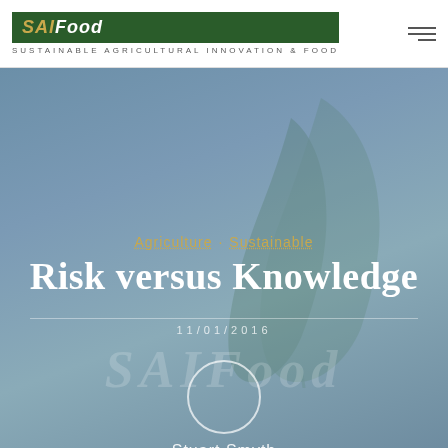SAIFood — SUSTAINABLE AGRICULTURAL INNOVATION & FOOD
[Figure (illustration): Hero section with teal-blue gradient background and a semi-transparent green leaf watermark. Overlaid with a faded SAIFood italic text watermark.]
Agriculture · Sustainable
Risk versus Knowledge
11/01/2016
[Figure (photo): Empty circular avatar placeholder with white border]
Stuart Smyth